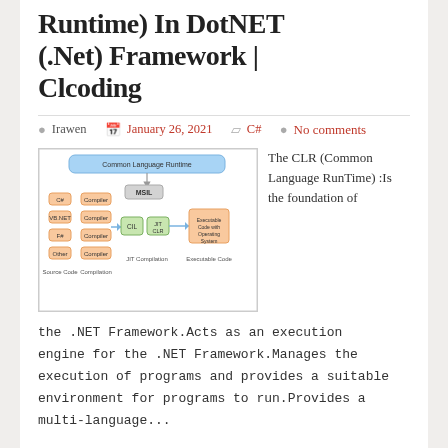Runtime) In DotNET (.Net) Framework | Clcoding
Irawen   January 26, 2021   C#   No comments
[Figure (flowchart): CLR (Common Language Runtime) architecture diagram showing Source Code, Compilation (C#, VB.NET, F#, Other compilers), MSIL, JIT Compilation with CIL and CLR, and Executable Code output.]
The CLR (Common Language RunTime) :Is the foundation of the .NET Framework.Acts as an execution engine for the .NET Framework.Manages the execution of programs and provides a suitable environment for programs to run.Provides a multi-language...